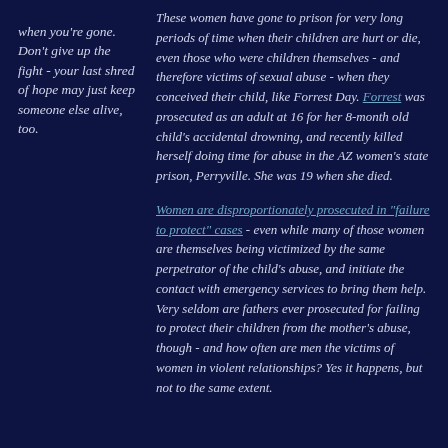when you're gone. Don't give up the fight - your last shred of hope may just keep someone else alive, too.
These women have gone to prison for very long periods of time when their children are hurt or die, even those who were children themselves - and therefore victims of sexual abuse - when they conceived their child, like Forrest Day. Forrest was prosecuted as an adult at 16 for her 8-month old child's accidental drowning, and recently killed herself doing time for abuse in the AZ women's state prison, Perryville. She was 19 when she died.
Women are disproportionately prosecuted in "failure to protect" cases - even while many of those women are themselves being victimized by the same perpetrator of the child's abuse, and initiate the contact with emergency services to bring them help. Very seldom are fathers ever prosecuted for failing to protect their children from the mother's abuse, though - and how often are men the victims of women in violent relationships? Yes it happens, but not to the same extent.